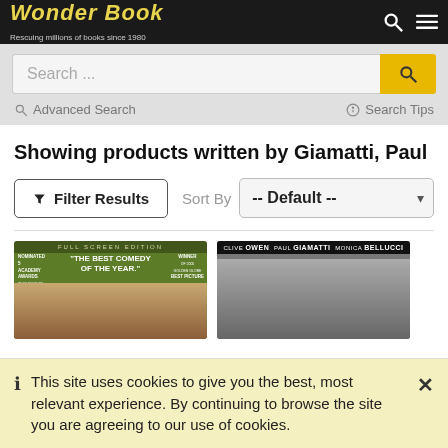Wonder Book — Rescuing millions of books since 1980
Search ...
Advanced Search
Search Tips
Showing products written by Giamatti, Paul
Filter Results
Sort By  -- Default --
[Figure (photo): Full Screen Edition movie cover — green background, nominated 5 Academy Awards, 'The Best Comedy of the Year', winner badge, faces of actors at bottom]
[Figure (photo): Movie cover — Clive Owen, Paul Giamatti, Monica Bellucci, black and white with actors holding guns]
This site uses cookies to give you the best, most relevant experience. By continuing to browse the site you are agreeing to our use of cookies.